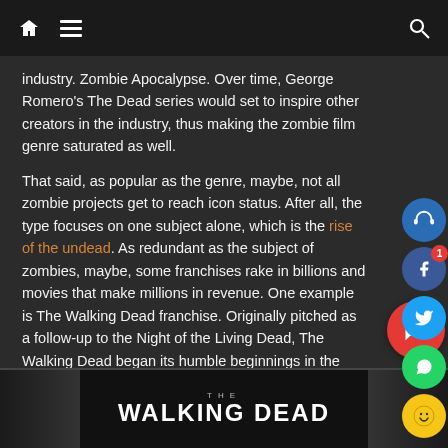Navigation bar with home icon, menu, and search
industry. Zombie Apocalypse. Over time, George Romero's The Dead series would set to inspire other creators in the industry, thus making the zombie film genre saturated as well.
That said, as popular as the genre, maybe, not all zombie projects get to reach icon status. After all, the type focuses on one subject alone, which is the rise of the undead. As redundant as the subject of zombies, maybe, some franchises rake in billions and movies that make millions in revenue. One example is The Walking Dead franchise. Originally pitched as a follow-up to the Night of the Living Dead, The Walking Dead began its humble beginnings in the comics industry in 2003.
[Figure (screenshot): The Walking Dead logo on dark background with zombie hands]
[Figure (infographic): Social media share buttons sidebar: headphone icon (blue), Facebook (blue with notification badge 1), Twitter (light blue), WhatsApp (green), emoji smiley face (yellow)]
[Figure (infographic): Red chat/comment floating action button]